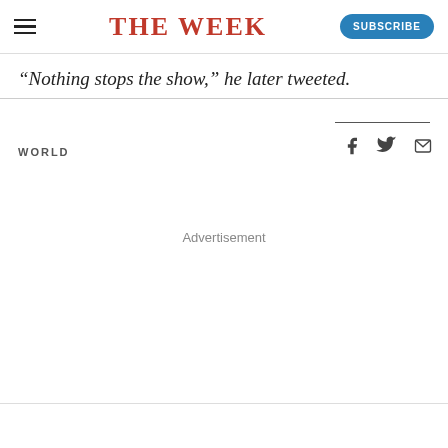THE WEEK
“Nothing stops the show,” he later tweeted.
WORLD
Advertisement